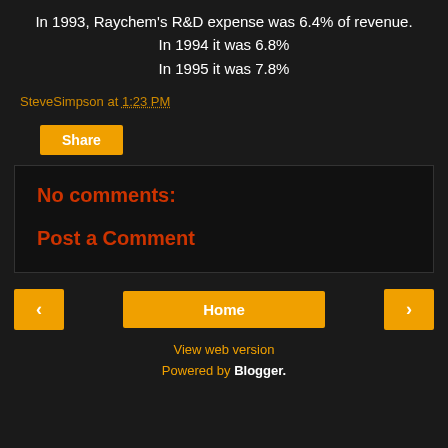In 1993, Raychem's R&D expense was 6.4% of revenue.
In 1994 it was 6.8%
In 1995 it was 7.8%
SteveSimpson at 1:23 PM
Share
No comments:
Post a Comment
< Home >
View web version
Powered by Blogger.